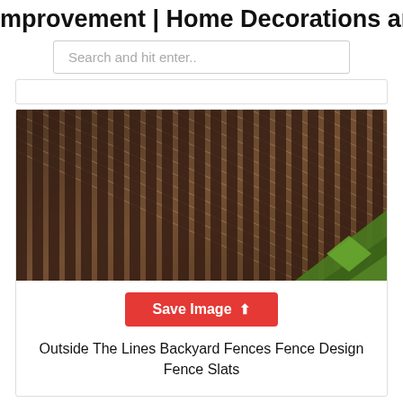mprovement | Home Decorations and
Search and hit enter..
[Figure (photo): Close-up photo of a wooden fence with diagonal slats creating a striped pattern, with green foliage visible in the bottom right corner.]
Save Image
Outside The Lines Backyard Fences Fence Design Fence Slats